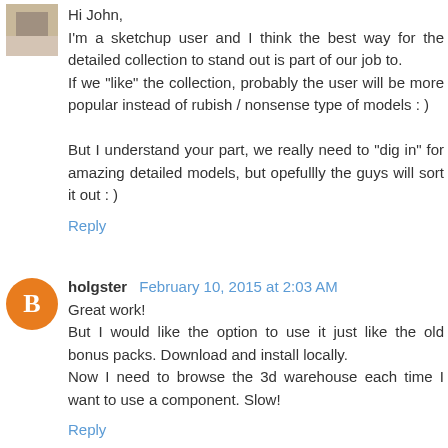Hi John,
I'm a sketchup user and I think the best way for the detailed collection to stand out is part of our job to.
If we "like" the collection, probably the user will be more popular instead of rubish / nonsense type of models : )

But I understand your part, we really need to "dig in" for amazing detailed models, but opefullly the guys will sort it out : )
Reply
holgster  February 10, 2015 at 2:03 AM
Great work!
But I would like the option to use it just like the old bonus packs. Download and install locally.
Now I need to browse the 3d warehouse each time I want to use a component. Slow!
Reply